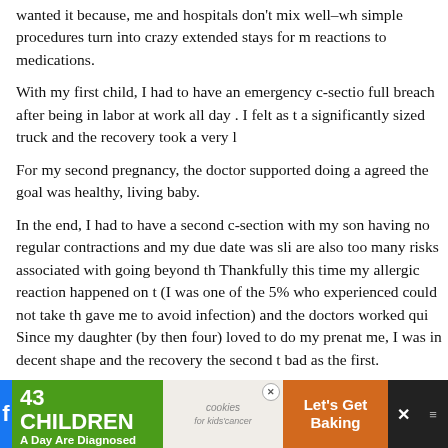wanted it because, me and hospitals don't mix well–wh simple procedures turn into crazy extended stays for m reactions to medications.
With my first child, I had to have an emergency c-sectio full breach after being in labor at work all day . I felt as t a significantly sized truck and the recovery took a very l
For my second pregnancy, the doctor supported doing a agreed the goal was healthy, living baby.
In the end, I had to have a second c-section with my son having no regular contractions and my due date was sli are also too many risks associated with going beyond th Thankfully this time my allergic reaction happened on t (I was one of the 5% who experienced could not take th gave me to avoid infection) and the doctors worked qui Since my daughter (by then four) loved to do my prenat me, I was in decent shape and the recovery the second t bad as the first.
[Figure (infographic): Advertisement banner: '43 CHILDREN A Day Are Diagnosed With Cancer in the U.S.' with cookies for kids' cancer logo and 'Let's Get Baking' text, with social media icons on the right.]